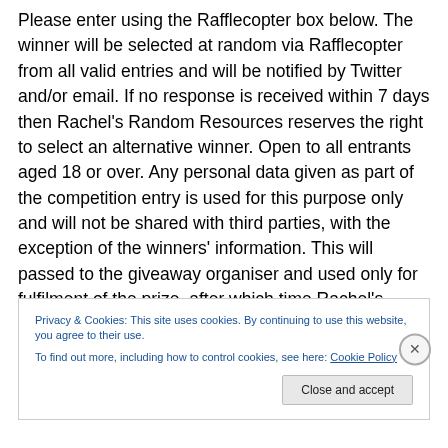Please enter using the Rafflecopter box below. The winner will be selected at random via Rafflecopter from all valid entries and will be notified by Twitter and/or email. If no response is received within 7 days then Rachel's Random Resources reserves the right to select an alternative winner. Open to all entrants aged 18 or over. Any personal data given as part of the competition entry is used for this purpose only and will not be shared with third parties, with the exception of the winners' information. This will passed to the giveaway organiser and used only for fulfilment of the prize, after which time Rachel's Random
Privacy & Cookies: This site uses cookies. By continuing to use this website, you agree to their use.
To find out more, including how to control cookies, see here: Cookie Policy
Close and accept